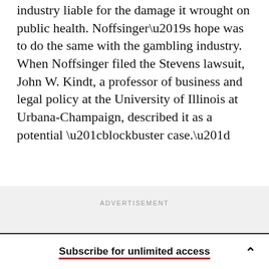industry liable for the damage it wrought on public health. Noffsinger’s hope was to do the same with the gambling industry. When Noffsinger filed the Stevens lawsuit, John W. Kindt, a professor of business and legal policy at the University of Illinois at Urbana-Champaign, described it as a potential “blockbuster case.”
ADVERTISEMENT
Subscribe for unlimited access